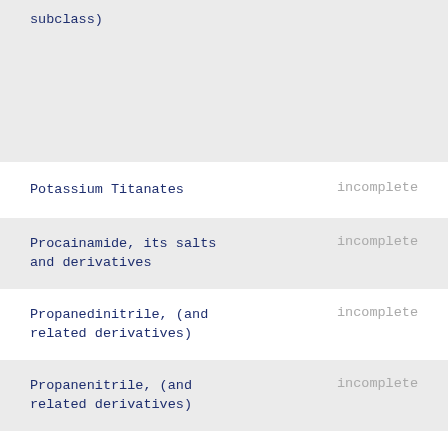subclass)
Potassium Titanates	incomplete
Procainamide, its salts and derivatives	incomplete
Propanedinitrile, (and related derivatives)	incomplete
Propanenitrile, (and related derivatives)	incomplete